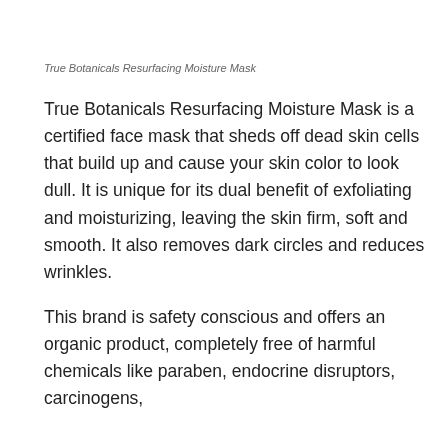True Botanicals Resurfacing Moisture Mask
True Botanicals Resurfacing Moisture Mask is a certified face mask that sheds off dead skin cells that build up and cause your skin color to look dull. It is unique for its dual benefit of exfoliating and moisturizing, leaving the skin firm, soft and smooth. It also removes dark circles and reduces wrinkles.
This brand is safety conscious and offers an organic product, completely free of harmful chemicals like paraben, endocrine disruptors, carcinogens, and the latest synthetic fragrance notes. The lactic acid